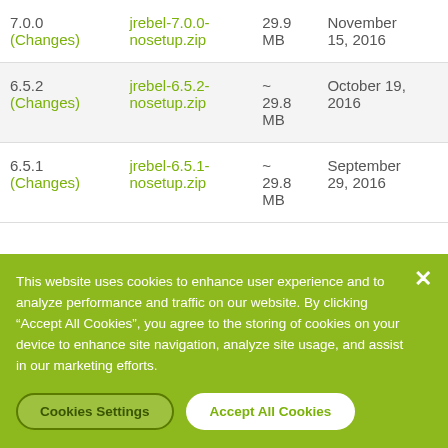| Version | Download | Size | Date |
| --- | --- | --- | --- |
| 7.0.0 (Changes) | jrebel-7.0.0-nosetup.zip | 29.9 MB | November 15, 2016 |
| 6.5.2 (Changes) | jrebel-6.5.2-nosetup.zip | ~ 29.8 MB | October 19, 2016 |
| 6.5.1 (Changes) | jrebel-6.5.1-nosetup.zip | ~ 29.8 MB | September 29, 2016 |
This website uses cookies to enhance user experience and to analyze performance and traffic on our website. By clicking “Accept All Cookies”, you agree to the storing of cookies on your device to enhance site navigation, analyze site usage, and assist in our marketing efforts.